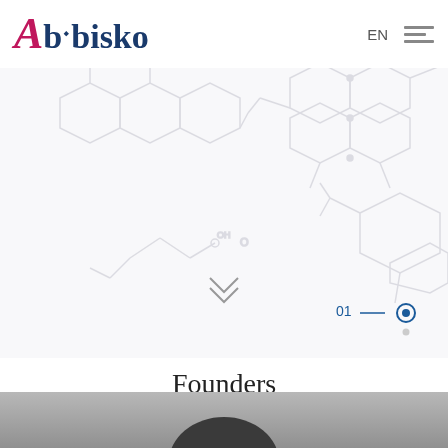[Figure (logo): Abbisko company logo with stylized pink italic A and blue bold text 'bbisko' with diamond above b]
[Figure (illustration): Hero banner with light gray molecular/hexagonal chemical structure background pattern, chevron down icon, and slide indicator showing '01 --- (filled circle)']
Founders
Our company was founded by a group of experienced drug hunters with strong passion, proven track records in drug discovery, and rich experience in managing multiple large R&D organizations.
[Figure (photo): Bottom portion of a person's head/hair visible against gray background, partial portrait photo]